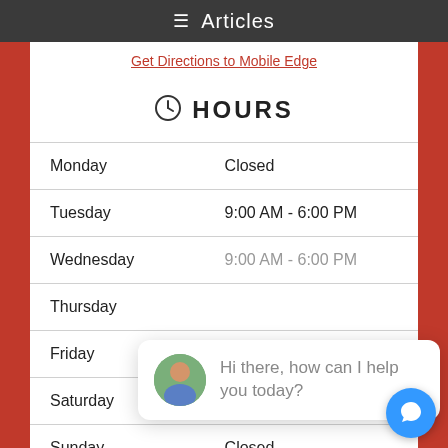Articles
Get Directions to Mobile Edge
HOURS
| Day | Hours |
| --- | --- |
| Monday | Closed |
| Tuesday | 9:00 AM - 6:00 PM |
| Wednesday | 9:00 AM - 6:00 PM |
| Thursday |  |
| Friday | 9:00 AM - 6:00 PM |
| Saturday | 9:00 AM - 5:00 PM |
| Sunday | Closed |
[Figure (screenshot): Chat widget overlay with avatar photo of a man and text 'Hi there, how can I help you today?', plus a blue circular chat button in the bottom-right corner]